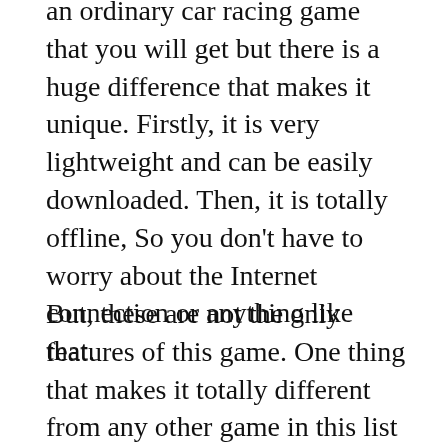an ordinary car racing game that you will get but there is a huge difference that makes it unique. Firstly, it is very lightweight and can be easily downloaded. Then, it is totally offline, So you don't have to worry about the Internet connection or anything like that.
But, these are not the only features of this game. One thing that makes it totally different from any other game in this list of Best Android Games under 200 MB is graphics. You cannot believe that it's a game by